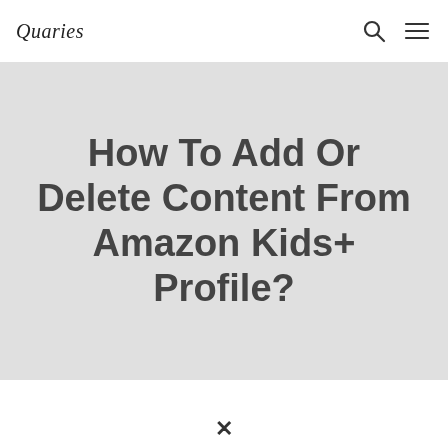Quaries
How To Add Or Delete Content From Amazon Kids+ Profile?